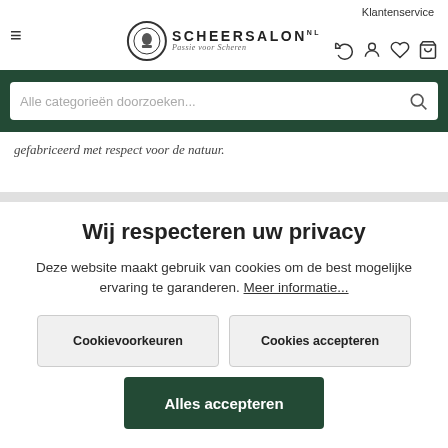Klantenservice
[Figure (logo): Scheersalon logo with circular emblem and tagline 'Passie voor Scheren']
gefabriceerd met respect voor de natuur.
Wij respecteren uw privacy
Deze website maakt gebruik van cookies om de best mogelijke ervaring te garanderen. Meer informatie...
Cookievoorkeuren
Cookies accepteren
Alles accepteren